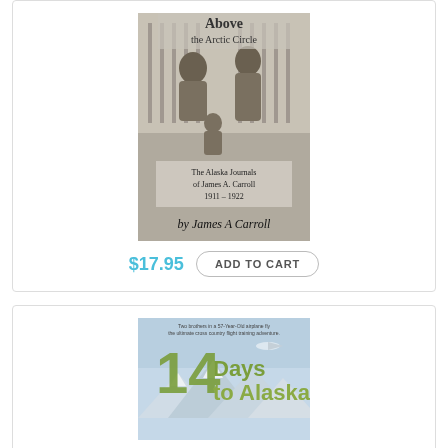[Figure (illustration): Book cover: 'Above the Arctic Circle – The Alaska Journals of James A. Carroll 1911–1922 by James A Carroll'. Black and white photo of two people on a porch with text overlay.]
$17.95
ADD TO CART
[Figure (illustration): Book cover: '14 Days to Alaska'. Green and grey title text on a sky/mountain background with airplane. Subtitle: 'Two brothers in a 57-Year-Old airplane fly the ultimate cross country flight training adventure.']